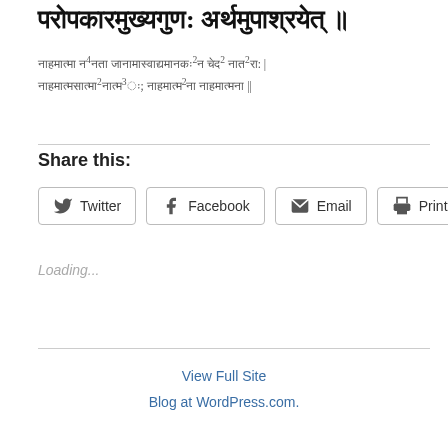परोपकारमुख्यगुण: अर्थमुपाश्रयेत् ॥
नाहमात्मा न⁴नता जानामास्वाद्यमानकः²न चेद² नात²रा: |
नाहमात्मसात्मा²नात्म३ः; नाहमात्म²ना नाहमात्मना ||
Share this:
Twitter
Facebook
Email
Print
Loading...
View Full Site
Blog at WordPress.com.